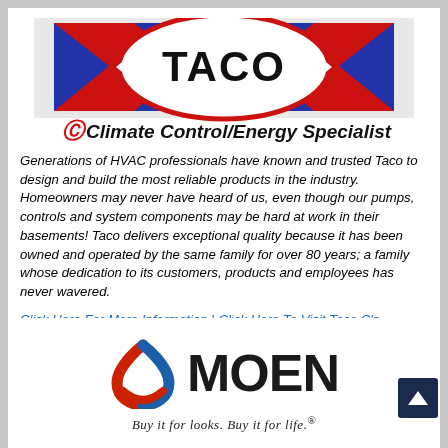[Figure (logo): Taco Climate Control/Energy Specialist logo with red, blue and white design]
Generations of HVAC professionals have known and trusted Taco to design and build the most reliable products in the industry. Homeowners may never have heard of us, even though our pumps, controls and system components may be hard at work in their basements! Taco delivers exceptional quality because it has been owned and operated by the same family for over 80 years; a family whose dedication to its customers, products and employees has never wavered.
Click Here For More Information  |  Click Here To Visit Taco C's Website
[Figure (logo): Moen logo with red and blue leaf/drop icon and bold MOEN wordmark, tagline partially visible]